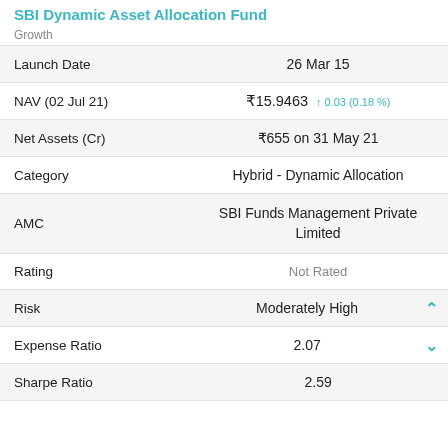SBI Dynamic Asset Allocation Fund
Growth
|  |  |
| --- | --- |
| Launch Date | 26 Mar 15 |
| NAV (02 Jul 21) | ₹15.9463 ↑0.03 (0.18%) |
| Net Assets (Cr) | ₹655 on 31 May 21 |
| Category | Hybrid - Dynamic Allocation |
| AMC | SBI Funds Management Private Limited |
| Rating | Not Rated |
| Risk | Moderately High |
| Expense Ratio | 2.07 |
| Sharpe Ratio | 2.59 |